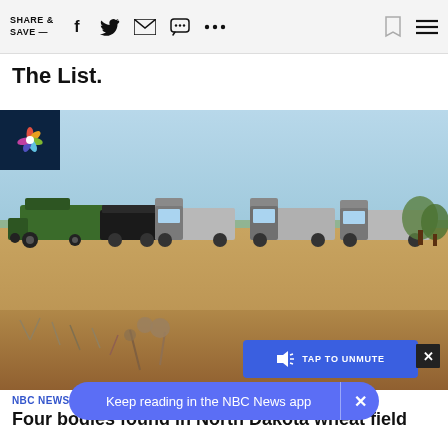SHARE & SAVE —
The List.
[Figure (photo): Agricultural field with green combine harvesters and grain trucks lined up on a harvested wheat field under a clear sky in North Dakota.]
NBC NEWS / NEWS
Fou[r bodies found in] North Dakota wheat field